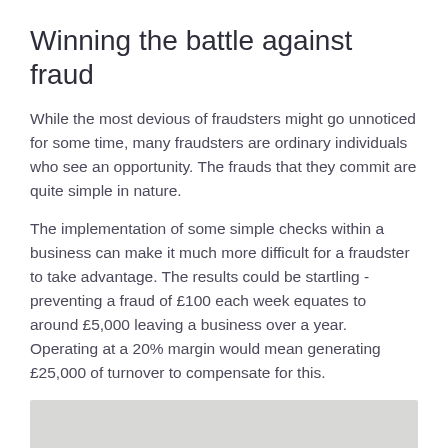Winning the battle against fraud
While the most devious of fraudsters might go unnoticed for some time, many fraudsters are ordinary individuals who see an opportunity. The frauds that they commit are quite simple in nature.
The implementation of some simple checks within a business can make it much more difficult for a fraudster to take advantage. The results could be startling - preventing a fraud of £100 each week equates to around £5,000 leaving a business over a year. Operating at a 20% margin would mean generating £25,000 of turnover to compensate for this.
[Figure (photo): Grey image box at the bottom of the page (partially visible)]